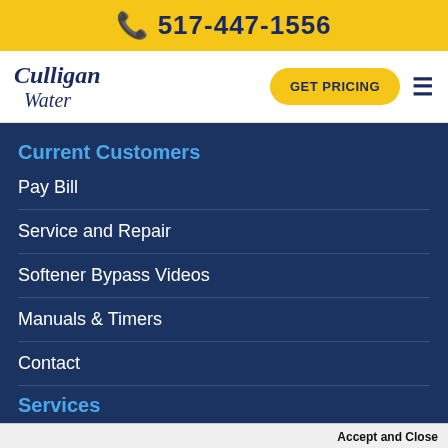517-447-1556
[Figure (logo): Culligan Water logo with GET PRICING button and hamburger menu icon]
Current Customers
Pay Bill
Service and Repair
Softener Bypass Videos
Manuals & Timers
Contact
Services
Accept and Close
✕ Your browser settings do not allow cross-site tracking for advertising. Click on this page to allow AdRoll to use cross-site tracking to tailor ads to you. Learn more or opt out of this AdRoll tracking by clicking here. This message only appears once.